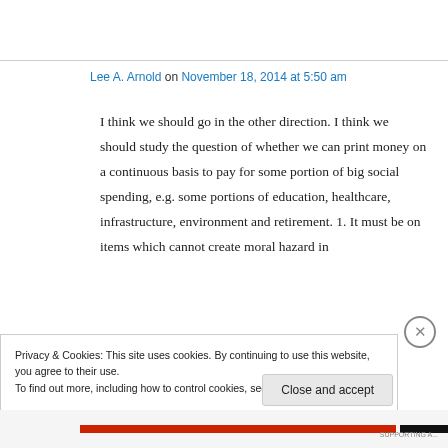Lee A. Arnold on November 18, 2014 at 5:50 am
I think we should go in the other direction. I think we should study the question of whether we can print money on a continuous basis to pay for some portion of big social spending, e.g. some portions of education, healthcare, infrastructure, environment and retirement. 1. It must be on items which cannot create moral hazard in
Privacy & Cookies: This site uses cookies. By continuing to use this website, you agree to their use.
To find out more, including how to control cookies, see here: Cookie Policy
Close and accept